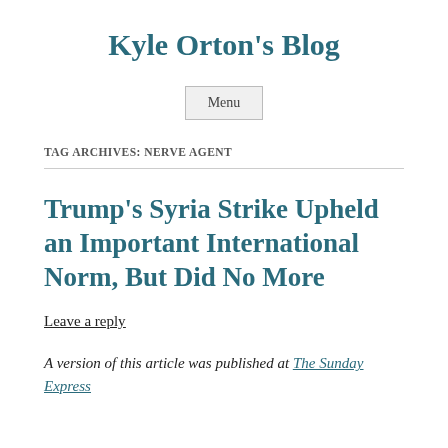Kyle Orton's Blog
Menu
TAG ARCHIVES: NERVE AGENT
Trump's Syria Strike Upheld an Important International Norm, But Did No More
Leave a reply
A version of this article was published at The Sunday Express